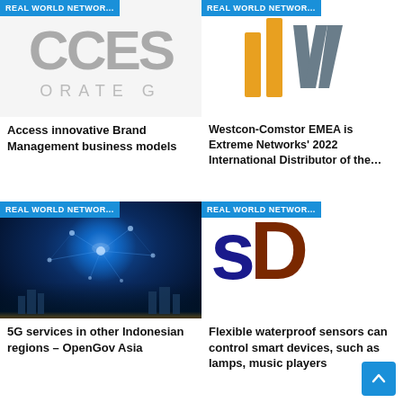[Figure (logo): Partially visible corporate logo showing letters 'CCES' and 'ORATE G' in grey on white background with blue 'REAL WORLD NETWOR...' badge]
Access innovative Brand Management business models
[Figure (logo): IFW logo with orange and grey letter shapes on white background with blue 'REAL WORLD NETWOR...' badge]
Westcon-Comstor EMEA is Extreme Networks' 2022 International Distributor of the…
[Figure (photo): 5G/IoT network concept photo showing glowing network sphere with cloud and device icons over city skyline at night. Blue 'REAL WORLD NETWOR...' badge.]
5G services in other Indonesian regions – OpenGov Asia
[Figure (logo): SD logo with dark blue 'S' and dark red/brown 'D' letters on white background with blue 'REAL WORLD NETWOR...' badge]
Flexible waterproof sensors can control smart devices, such as lamps, music players